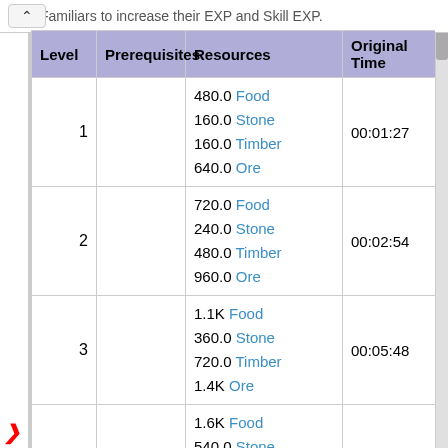Familiars to increase their EXP and Skill EXP.
| Level | Prerequisites | Resources | Original Time | Famili Lv EX |
| --- | --- | --- | --- | --- |
| 1 |  | 480.0 Food
160.0 Stone
160.0 Timber
640.0 Ore | 00:01:27 |  |
| 2 |  | 720.0 Food
240.0 Stone
480.0 Timber
960.0 Ore | 00:02:54 |  |
| 3 |  | 1.1K Food
360.0 Stone
720.0 Timber
1.4K Ore | 00:05:48 |  |
| 4 |  | 1.6K Food
540.0 Stone
1.1K Timber
2.2K Ore | 00:11:36 |  |